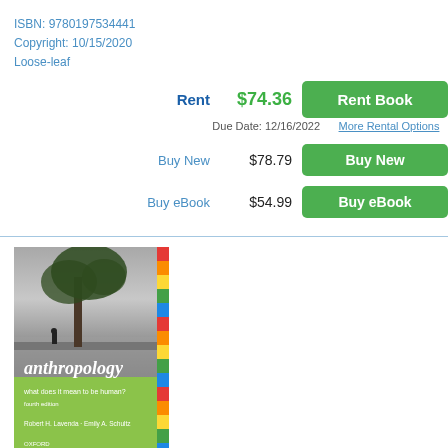ISBN: 9780197534441
Copyright: 10/15/2020
Loose-leaf
Rent  $74.36  Rent Book
Due Date: 12/16/2022  More Rental Options
Buy New  $78.79  Buy New
Buy eBook  $54.99  Buy eBook
[Figure (photo): Book cover of 'anthropology: what does it mean to be human?' by Robert H. Lavenda and Emily A. Schultz, published by Oxford. Cover shows a black and white photo of a person near water under a large tree, with a green bottom section and colorful stripe on the right side.]